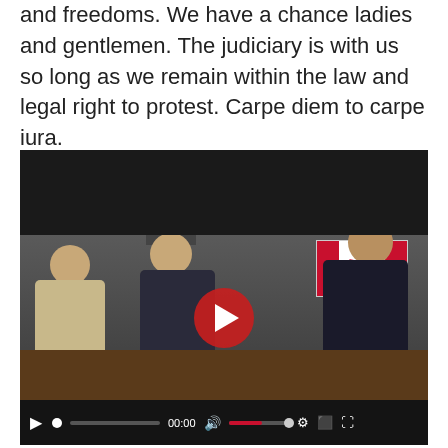violent actions to take back our God given rights and freedoms. We have a chance ladies and gentlemen. The judiciary is with us so long as we remain within the law and legal right to protest. Carpe diem to carpe iura.
[Figure (screenshot): Video player showing three men seated at a table in front of a Canadian flag. Two men wear caps. A red play button is displayed in the center. Video controls show at the bottom including play button, progress bar, timestamp 00:00, volume, settings, and fullscreen icons.]